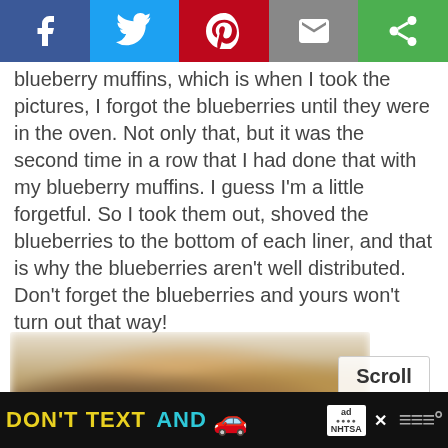[Figure (screenshot): Social media share bar with Facebook (blue), Twitter (light blue), Pinterest (red), Email (gray), and another share option (green) buttons]
blueberry muffins, which is when I took the pictures, I forgot the blueberries until they were in the oven. Not only that, but it was the second time in a row that I had done that with my blueberry muffins. I guess I'm a little forgetful. So I took them out, shoved the blueberries to the bottom of each liner, and that is why the blueberries aren't well distributed. Don't forget the blueberries and yours won't turn out that way!
[Figure (photo): Blurry close-up photo of blueberry muffins]
Scroll to top
[Figure (infographic): Ad banner: DON'T TEXT AND [car emoji] with NHTSA logo and close button]